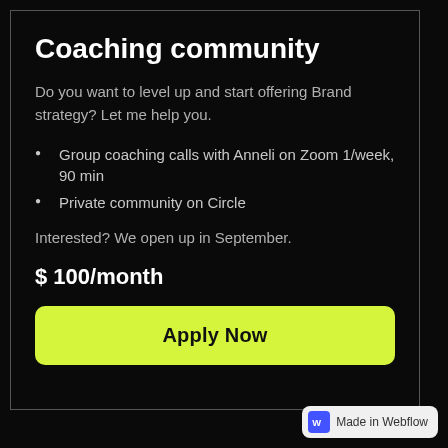Coaching community
Do you want to level up and start offering Brand strategy? Let me help you.
Group coaching calls with Anneli on Zoom 1/week, 90 min
Private community on Circle
Interested? We open up in September.
$ 100/month
Apply Now
Made in Webflow